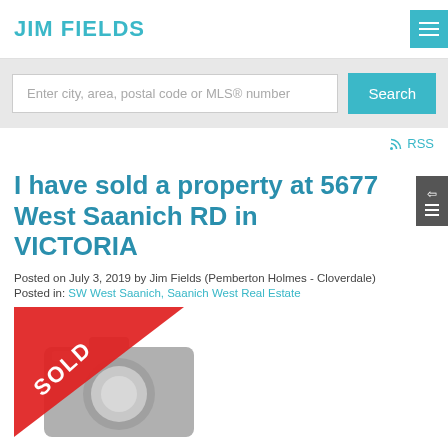JIM FIELDS
Enter city, area, postal code or MLS® number
Search
RSS
I have sold a property at 5677 West Saanich RD in VICTORIA
Posted on July 3, 2019 by Jim Fields (Pemberton Holmes - Cloverdale)
Posted in: SW West Saanich, Saanich West Real Estate
[Figure (photo): Property photo placeholder with SOLD ribbon overlay]